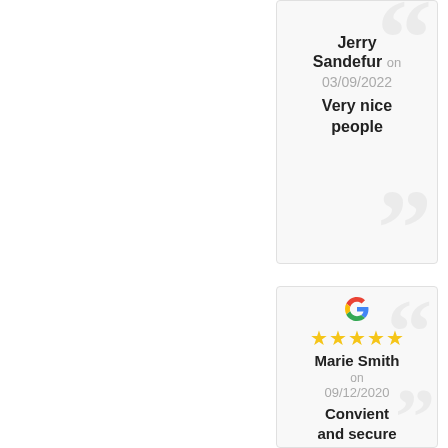Jerry Sandefur on 03/09/2022 Very nice people
Marie Smith on 09/12/2020 Convient and secure online